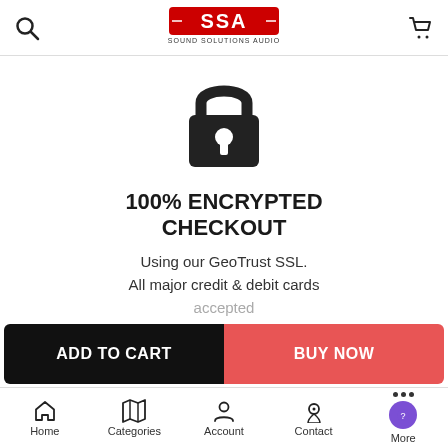[Figure (logo): Sound Solutions Audio (SSA) logo with red text and stylized letters]
[Figure (illustration): Large padlock icon indicating encrypted checkout]
100% ENCRYPTED CHECKOUT
Using our GeoTrust SSL. All major credit & debit cards accepted
ADD TO CART
BUY NOW
Home  Categories  Account  Contact  More